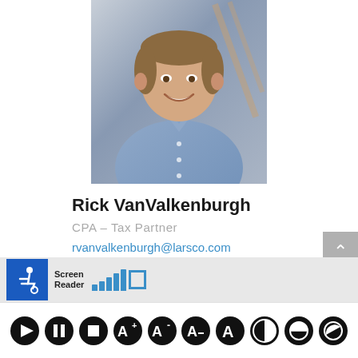[Figure (photo): Professional headshot of Rick VanValkenburgh, a smiling man in a light blue button-up shirt, photographed in an office/building interior setting]
Rick VanValkenburgh
CPA – Tax Partner
rvanvalkenburgh@larsco.com
[Figure (infographic): Accessibility toolbar with wheelchair icon labeled Screen Reader, signal bars, and a rectangle icon]
[Figure (infographic): Bottom toolbar with accessibility control icons: play, pause, stop, font increase, font decrease, font reset, letter A, contrast, and two other contrast/invert icons]